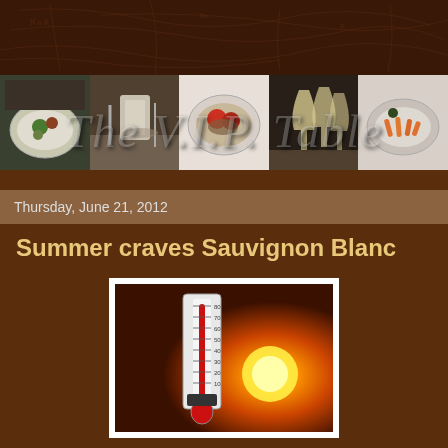[Figure (photo): Blog header banner with dark brown map-textured background at top, a horizontal strip of food photos (plated dishes, table settings, wine glasses, pasta), and 'The V.I.P. Table' text overlaid in large semi-transparent italic font]
Thursday, June 21, 2012
Summer craves Sauvignon Blanc
[Figure (photo): A thermometer standing upright against a warm orange/red background with a bright glowing sun, indicating hot summer temperature]